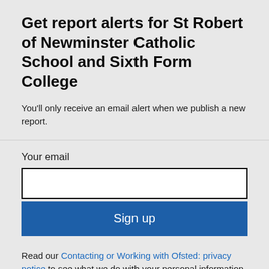Get report alerts for St Robert of Newminster Catholic School and Sixth Form College
You'll only receive an email alert when we publish a new report.
Your email
Sign up
Read our Contacting or Working with Ofsted: privacy notice to see what we do with your personal information.
You can also set up email alerts for other parts of the website. Find out more about email alerts for Ofsted.